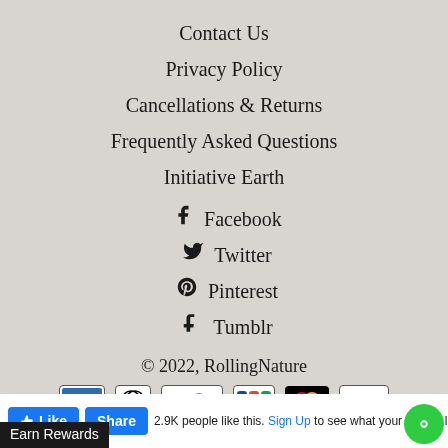Contact Us
Privacy Policy
Cancellations & Returns
Frequently Asked Questions
Initiative Earth
Facebook
Twitter
Pinterest
Tumblr
© 2022, RollingNature
[Figure (other): Payment method icons: American Express, Diners Club, Discover, JCB, MasterCard, Visa]
Like  Share  2.9K people like this. Sign Up to see what your friends like.  Earn Rewards